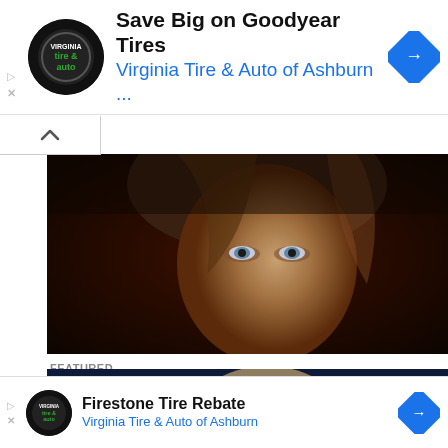[Figure (other): Advertisement banner for Virginia Tire & Auto of Ashburn featuring Goodyear Tires. Shows circular logo, headline 'Save Big on Goodyear Tires', subheadline 'Virginia Tire & Auto of Ashburn ...', and navigation diamond icon.]
[Figure (photo): Cropped photo of a woman's face with blonde hair, dark background, slightly looking to the right.]
FEATURED
During CIA Hearing, Michelle Bachmann Baffles CIA Reps With Dubious Questioning (VIDEO)
During a House Intelligence Committee session this week, Republican Representative Michele Bachmann made quite a bizarre spectacle during her questioning of CIA...
[Figure (photo): Teaser image strip at bottom showing partial face with navy blue background, view count 4.0K and comment count 16.]
[Figure (other): Bottom advertisement for Firestone Tire Rebate by Virginia Tire & Auto of Ashburn with logo and navigation diamond.]